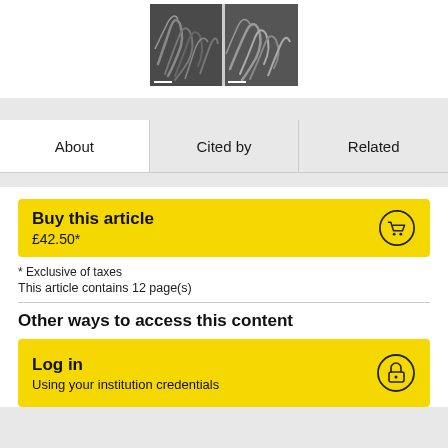[Figure (photo): Microscopy image showing fibrous/worm-like structures, split into two panels side by side.]
About | Cited by | Related
Buy this article
£42.50*
* Exclusive of taxes
This article contains 12 page(s)
Other ways to access this content
Log in
Using your institution credentials